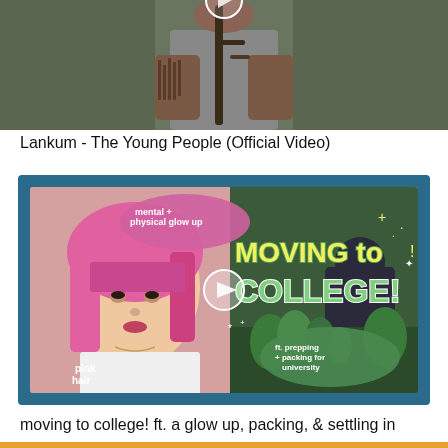[Figure (photo): Video thumbnail showing a tattooed man holding a stringed instrument against an olive green background — Lankum music video thumbnail]
Lankum - The Young People (Official Video)
[Figure (photo): Video thumbnail with teal border showing a young woman with pink hair on the left side and colorful text 'MOVING TO COLLEGE!' with decorative elements, subtitle 'ft. prepping + packing for university' and labels 'mental + physical glow up' and 'pink hair']
moving to college! ft. a glow up, packing, & settling in